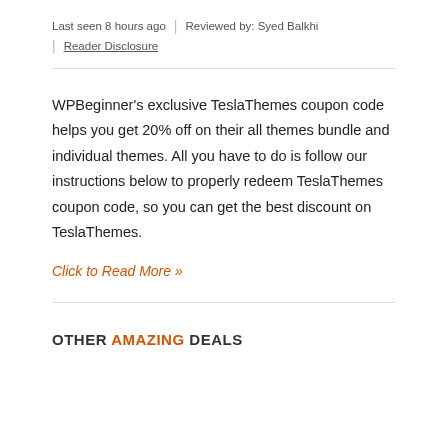Last seen 8 hours ago  |  Reviewed by: Syed Balkhi  |  Reader Disclosure
WPBeginner's exclusive TeslaThemes coupon code helps you get 20% off on their all themes bundle and individual themes. All you have to do is follow our instructions below to properly redeem TeslaThemes coupon code, so you can get the best discount on TeslaThemes.
Click to Read More »
OTHER AMAZING DEALS